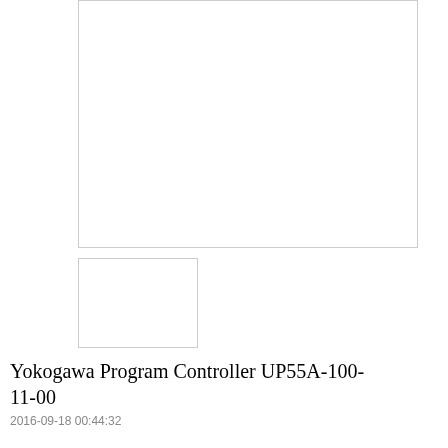[Figure (other): Large blank/white image placeholder box for Yokogawa Program Controller UP55A-100-11-00 product image (main view)]
[Figure (other): Small blank/white image placeholder box for Yokogawa Program Controller UP55A-100-11-00 product image (secondary view)]
Yokogawa Program Controller UP55A-100-11-00
2016-09-18 00:44:32